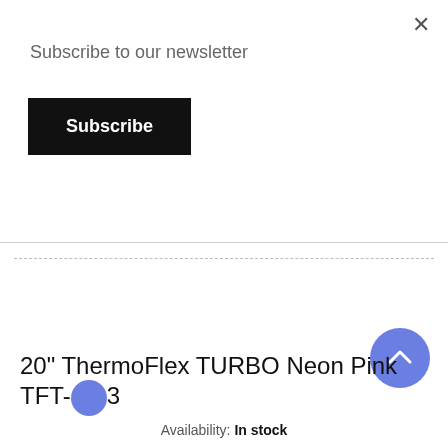Subscribe to our newsletter
Subscribe
×
20" ThermoFlex TURBO Neon Pink TFT-...3
Availability: In stock